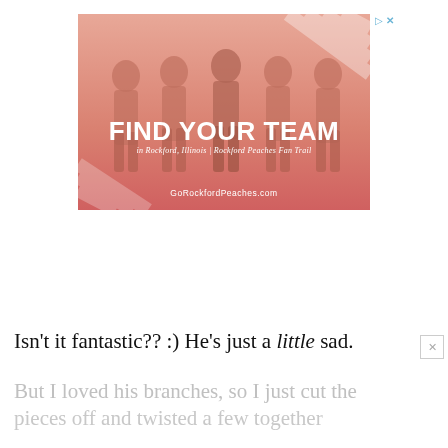[Figure (photo): Advertisement banner for Rockford Peaches Fan Trail. Shows five women in vintage baseball uniforms running/posing, with a coral/salmon color overlay. Large white text reads 'FIND YOUR TEAM' with subtitle 'in Rockford, Illinois | Rockford Peaches Fan Trail' and website 'GoRockfordPeaches.com' at the bottom. Ad control icons (play and close) in top right corner.]
Isn't it fantastic?? :) He's just a little sad.
But I loved his branches, so I just cut the pieces off and twisted a few together